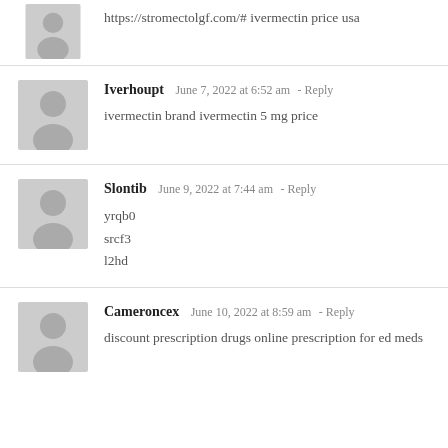https://stromectolgf.com/# ivermectin price usa
Iverhoupt   June 7, 2022 at 6:52 am - Reply
ivermectin brand ivermectin 5 mg price
Slontib   June 9, 2022 at 7:44 am - Reply
yrqb0
srcf3
l2hd
Cameroncex   June 10, 2022 at 8:59 am - Reply
discount prescription drugs online prescription for ed meds